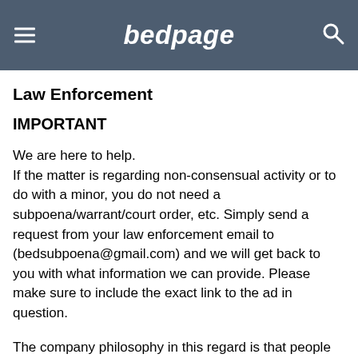bedpage
Law Enforcement
IMPORTANT
We are here to help.
If the matter is regarding non-consensual activity or to do with a minor, you do not need a subpoena/warrant/court order, etc. Simply send a request from your law enforcement email to (bedsubpoena@gmail.com) and we will get back to you with what information we can provide. Please make sure to include the exact link to the ad in question.
The company philosophy in this regard is that people who traffic/prey on other people (let alone minors) should be prosecuted, and we are more than happy to help law